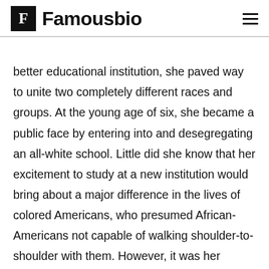Famousbio
better educational institution, she paved way to unite two completely different races and groups. At the young age of six, she became a public face by entering into and desegregating an all-white school. Little did she know that her excitement to study at a new institution would bring about a major difference in the lives of colored Americans, who presumed African-Americans not capable of walking shoulder-to-shoulder with them. However, it was her struggle and determination that helped her fight all odds and complete her schooling. Many books